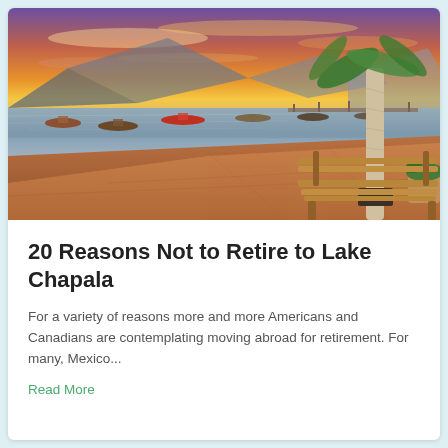[Figure (photo): Lakeside sunset scene at Lake Chapala with small boats on calm water, a sandy shoreline, a palm tree, a wooden bench, and warm orange-purple sky]
20 Reasons Not to Retire to Lake Chapala
For a variety of reasons more and more Americans and Canadians are contemplating moving abroad for retirement. For many, Mexico...
Read More